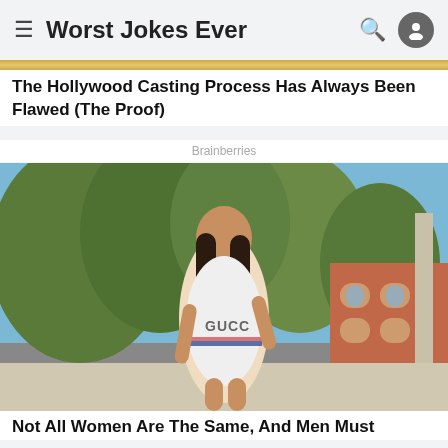Worst Jokes Ever
The Hollywood Casting Process Has Always Been Flawed (The Proof)
Brainberries
[Figure (photo): Woman in white Gucci swimsuit posing outdoors with trees and a building in the background]
Not All Women Are The Same, And Men Must